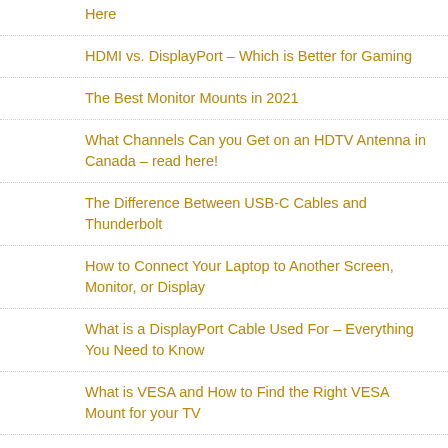Here
HDMI vs. DisplayPort – Which is Better for Gaming
The Best Monitor Mounts in 2021
What Channels Can you Get on an HDTV Antenna in Canada – read here!
The Difference Between USB-C Cables and Thunderbolt
How to Connect Your Laptop to Another Screen, Monitor, or Display
What is a DisplayPort Cable Used For – Everything You Need to Know
What is VESA and How to Find the Right VESA Mount for your TV